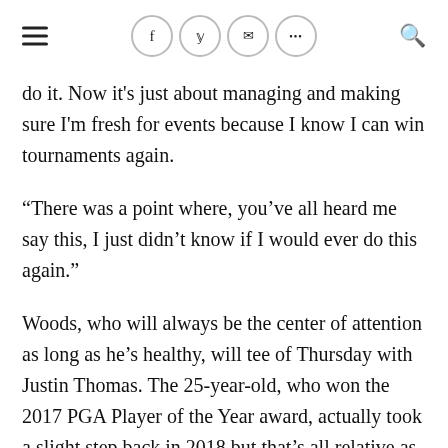≡  f  y  ✉  ···  🔍
do it. Now it's just about managing and making sure I'm fresh for events because I know I can win tournaments again.
“There was a point where, you’ve all heard me say this, I just didn’t know if I would ever do this again.”
Woods, who will always be the center of attention as long as he’s healthy, will tee of Thursday with Justin Thomas. The 25-year-old, who won the 2017 PGA Player of the Year award, actually took a slight step back in 2018 but that’s all relative as he still managed to collect three wins and 10 Top-10